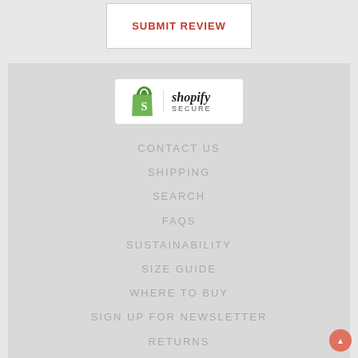SUBMIT REVIEW
[Figure (logo): Shopify Secure badge with green shopping bag icon and 'shopify SECURE' text]
CONTACT US
SHIPPING
SEARCH
FAQS
SUSTAINABILITY
SIZE GUIDE
WHERE TO BUY
SIGN UP FOR NEWSLETTER
RETURNS